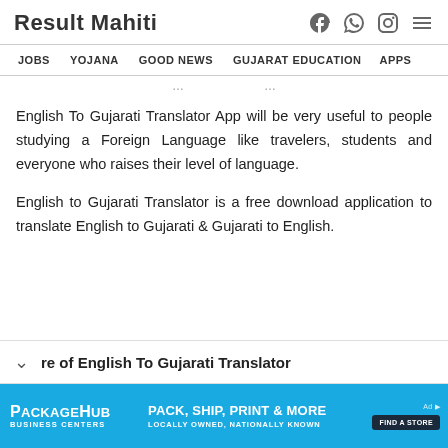Result Mahiti
JOBS  YOJANA  GOOD NEWS  GUJARAT EDUCATION  APPS
English To Gujarati Translator App will be very useful to people studying a Foreign Language like travelers, students and everyone who raises their level of language.
English to Gujarati Translator is a free download application to translate English to Gujarati & Gujarati to English.
re of English To Gujarati Translator
[Figure (infographic): PackageHub advertisement banner — blue background, logo on left reading PACKAGEHUB BUSINESS CENTERS, center text PACK, SHIP, PRINT & MORE / LOCALLY OWNED, NATIONALLY KNOWN, right button FIND A STORE]